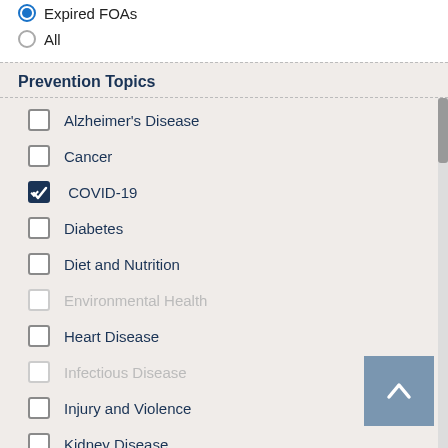Expired FOAs
All
Prevention Topics
Alzheimer's Disease
Cancer
COVID-19
Diabetes
Diet and Nutrition
Environmental Health
Heart Disease
Infectious Disease
Injury and Violence
Kidney Disease